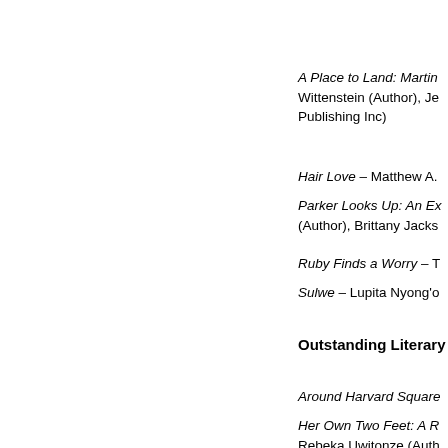A Place to Land: Martin Wittenstein (Author), Je Publishing Inc)
Hair Love – Matthew A.
Parker Looks Up: An Ex (Author), Brittany Jacks
Ruby Finds a Worry – T
Sulwe – Lupita Nyong'o
Outstanding Literary
Around Harvard Square
Her Own Two Feet: A R Rebeka Uwitonze (Auth
Hot Comb – Ebony Flow
I'm Not Dying with You (Sourcebooks Fire)
The Forgotten Girl – Inc
Outstanding Motion